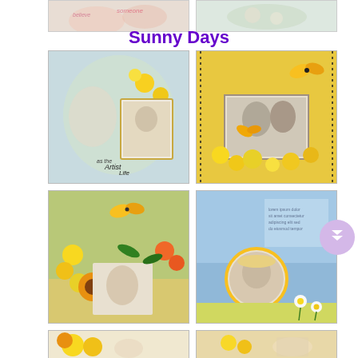[Figure (photo): Top partial scrapbook image, left - floral pastel design]
[Figure (photo): Top partial scrapbook image, right - floral pastel design]
Sunny Days
[Figure (photo): Scrapbook layout with girl in flowers, Artist Life text, yellow and green flowers]
[Figure (photo): Scrapbook layout with couple photo, yellow tulips, butterfly on golden background]
[Figure (photo): Scrapbook layout with blonde girl in field of yellow flowers and sunflowers]
[Figure (photo): Scrapbook layout with woman in sunhat, blue sky, daisies and yellow flowers]
[Figure (photo): Bottom partial scrapbook image, left - baby with sunflowers]
[Figure (photo): Bottom partial scrapbook image, right - floral arrangement with baby photo]